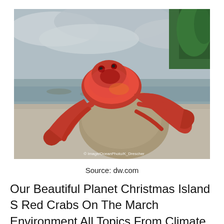[Figure (photo): A large red Christmas Island crab climbing over a sandy rock on a beach, with ocean water and green trees visible in the background under a cloudy sky. Watermark reads: © Image/OceanPhoto/K_Drescher]
Source: dw.com
Our Beautiful Planet Christmas Island S Red Crabs On The March Environment All Topics From Climate ⓧhange To